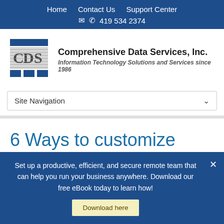Home  Contact Us  Support Center
✉ ☎ 419 534 2374
[Figure (logo): CDS (Comprehensive Data Services) company logo with blue grid/bar graphic and company name]
Comprehensive Data Services, Inc.
Information Technology Solutions and Services since 1986
Site Navigation
6 Ways to customize your
Set up a productive, efficient, and secure remote team that can help you run your business anywhere. Download our free eBook today to learn how!